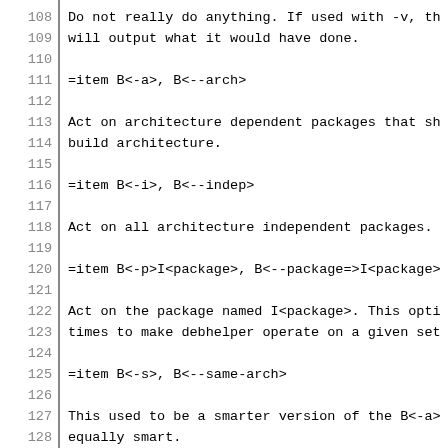108 Do not really do anything. If used with -v, th
109 will output what it would have done.
110
111 =item B<-a>, B<--arch>
112
113 Act on architecture dependent packages that sh
114 build architecture.
115
116 =item B<-i>, B<--indep>
117
118 Act on all architecture independent packages.
119
120 =item B<-p>I<package>, B<--package=>I<package>
121
122 Act on the package named I<package>. This opti
123 times to make debhelper operate on a given set
124
125 =item B<-s>, B<--same-arch>
126
127 This used to be a smarter version of the B<-a>
128 equally smart.
129
130 =item B<-N>I<package>, B<--no-package=>I<packa
131
132 Do not act on the specified package even if an
133 the package as one that should be acted on.
134
135 =item B<--remaining-packages>
136
137 Do not act on the packages which have already